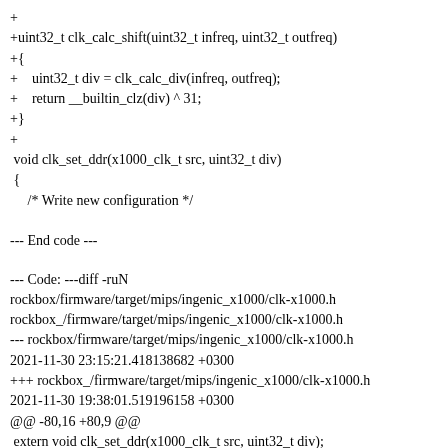+
+uint32_t clk_calc_shift(uint32_t infreq, uint32_t outfreq)
+{
+    uint32_t div = clk_calc_div(infreq, outfreq);
+    return __builtin_clz(div) ^ 31;
+}
+
 void clk_set_ddr(x1000_clk_t src, uint32_t div)
 {
     /* Write new configuration */

--- End code ---
--- Code: ---diff -ruN rockbox/firmware/target/mips/ingenic_x1000/clk-x1000.h rockbox_/firmware/target/mips/ingenic_x1000/clk-x1000.h
--- rockbox/firmware/target/mips/ingenic_x1000/clk-x1000.h 2021-11-30 23:15:21.418138682 +0300
+++ rockbox_/firmware/target/mips/ingenic_x1000/clk-x1000.h 2021-11-30 19:38:01.519196158 +0300
@@ -80,16 +80,9 @@
 extern void clk_set_ddr(x1000_clk_t src, uint32_t div);

 /* Returns the smallest n such that infreq/n <= outfreq */